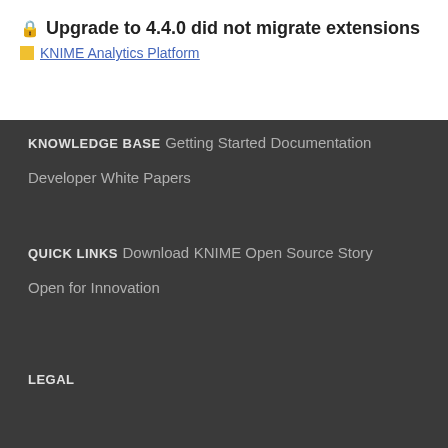🔒 Upgrade to 4.4.0 did not migrate extensions
KNIME Analytics Platform
KNOWLEDGE BASE
Getting Started
Documentation
Developer
White Papers
QUICK LINKS
Download
KNIME Open Source Story
Open for Innovation
LEGAL